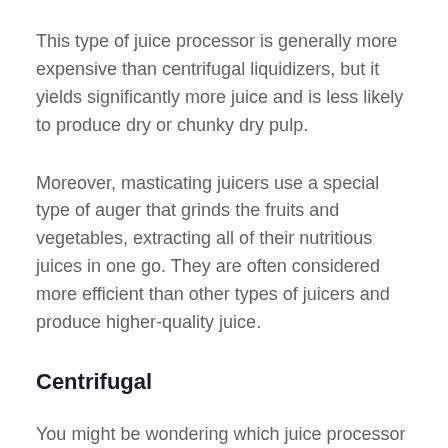This type of juice processor is generally more expensive than centrifugal liquidizers, but it yields significantly more juice and is less likely to produce dry or chunky dry pulp.
Moreover, masticating juicers use a special type of auger that grinds the fruits and vegetables, extracting all of their nutritious juices in one go. They are often considered more efficient than other types of juicers and produce higher-quality juice.
Centrifugal
You might be wondering which juice processor to buy if you're looking for the best results. A centrifugal